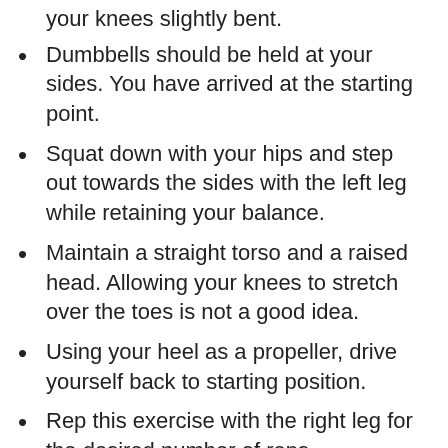your knees slightly bent.
Dumbbells should be held at your sides. You have arrived at the starting point.
Squat down with your hips and step out towards the sides with the left leg while retaining your balance.
Maintain a straight torso and a raised head. Allowing your knees to stretch over the toes is not a good idea.
Using your heel as a propeller, drive yourself back to starting position.
Rep this exercise with the right leg for the desired number of reps.